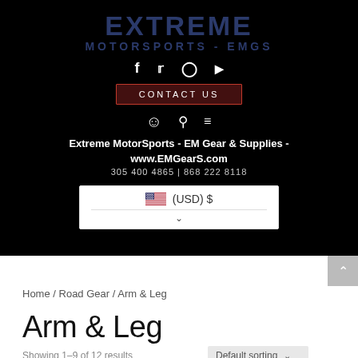EXTREME MOTORSPORTS - EMGS
[Figure (screenshot): Website header with black background showing Extreme MotorSports EMGS logo, social media icons (Facebook, Twitter, Instagram, YouTube), Contact Us button, navigation icons (cart, search, menu), site name, phone numbers, and USD currency selector]
Extreme MotorSports - EM Gear & Supplies - www.EMGearS.com 305 400 4865 | 868 222 8118
🇺🇸 (USD) $
Home / Road Gear / Arm & Leg
Arm & Leg
Showing 1–9 of 12 results   Default sorting